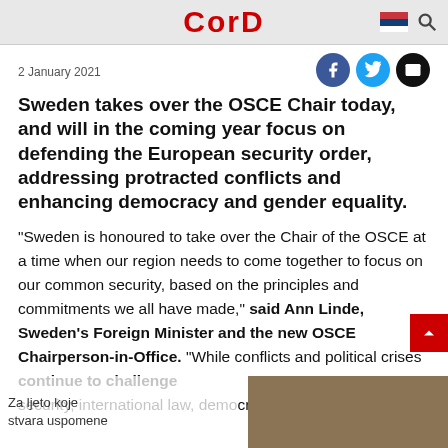CorD
2 January 2021
Sweden takes over the OSCE Chair today, and will in the coming year focus on defending the European security order, addressing protracted conflicts and enhancing democracy and gender equality.
“Sweden is honoured to take over the Chair of the OSCE at a time when our region needs to come together to focus on our common security, based on the principles and commitments we all have made,” said Ann Linde, Sweden’s Foreign Minister and the new OSCE Chairperson-in-Office. “While conflicts and political crises continue to challenge security, international law, democratic principles and